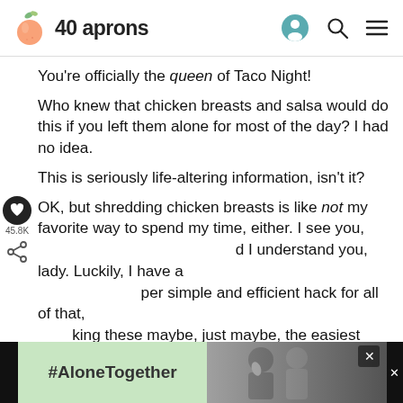40 aprons
You’re officially the queen of Taco Night!
Who knew that chicken breasts and salsa would do this if you left them alone for most of the day? I had no idea.
This is seriously life-altering information, isn’t it?
OK, but shredding chicken breasts is like not my favorite way to spend my time, either. I see you, and I understand you, lady. Luckily, I have a super simple and efficient hack for all of that, making these maybe, just maybe, the easiest chicken tacos in the world. In the world(!!)!
[Figure (screenshot): Ad banner at the bottom showing #AloneTogether text on green background and a photo of people on dark background]